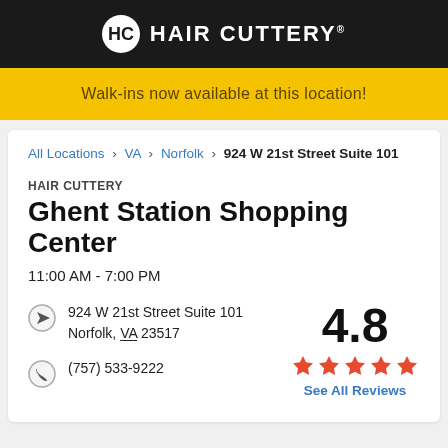HAIR CUTTERY
Walk-ins now available at this location!
All Locations > VA > Norfolk > 924 W 21st Street Suite 101
HAIR CUTTERY Ghent Station Shopping Center
11:00 AM - 7:00 PM
924 W 21st Street Suite 101 Norfolk, VA 23517
(757) 533-9222
4.8 See All Reviews